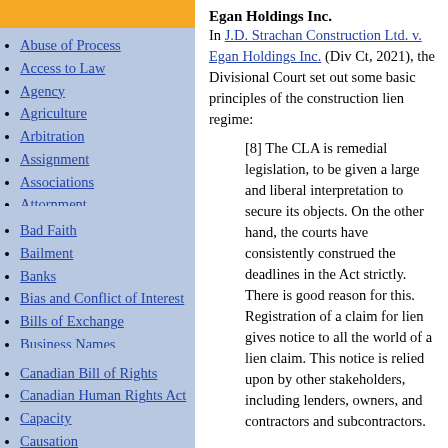Abuse of Process
Access to Law
Agency
Agriculture
Arbitration
Assignment
Associations
Attornment
Bad Faith
Bailment
Banks
Bias and Conflict of Interest
Bills of Exchange
Business Names
Canadian Bill of Rights
Canadian Human Rights Act
Capacity
Causation
Egan Holdings Inc.
In J.D. Strachan Construction Ltd. v. Egan Holdings Inc. (Div Ct, 2021), the Divisional Court set out some basic principles of the construction lien regime:
[8] The CLA is remedial legislation, to be given a large and liberal interpretation to secure its objects. On the other hand, the courts have consistently construed the deadlines in the Act strictly. There is good reason for this. Registration of a claim for lien gives notice to all the world of a lien claim. This notice is relied upon by other stakeholders, including lenders, owners, and contractors and subcontractors.